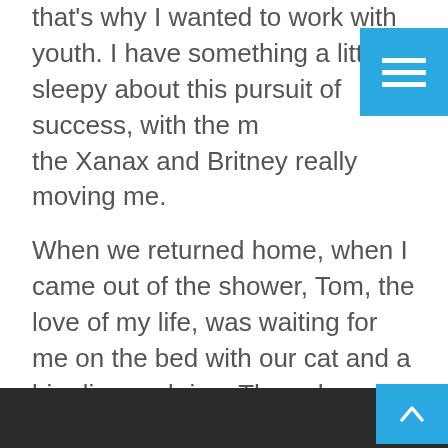that's why I wanted to work with youth. I have something a little sleepy about this pursuit of success, with the music, the Xanax and Britney really moving me.
When we returned home, when I came out of the shower, Tom, the love of my life, was waiting for me on the bed with our cat and a big diamond ring. Then she asked me if I wanted to marry her. I was at that moment ‘Stronger’ than ever and I remembered why in high school I would have been moved by Britney.